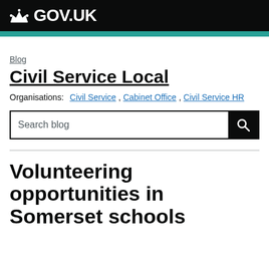GOV.UK
Blog
Civil Service Local
Organisations: Civil Service, Cabinet Office, Civil Service HR
Volunteering opportunities in Somerset schools